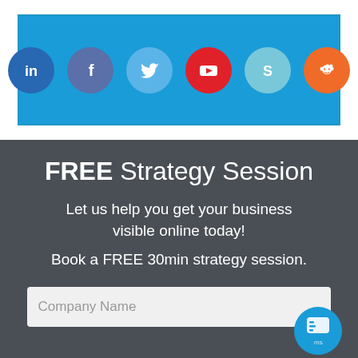[Figure (infographic): Social media icons bar: LinkedIn, Facebook, Twitter, YouTube, Skype, Reddit on blue background with white border]
FREE Strategy Session
Let us help you get your business visible online today!
Book a FREE 30min strategy session.
Company Name